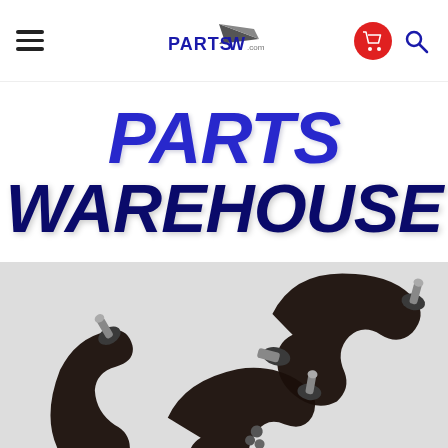PartsW - Parts Warehouse navigation header with logo, cart, and search icons
PARTS WAREHOUSE
[Figure (photo): Product photo showing three black upper control arms with ball joints arranged on a white background, viewed from above]